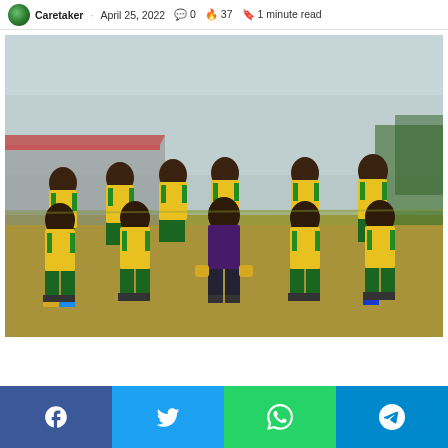Caretaker · April 25, 2022 · 0 comments · 37 views · 1 minute read
[Figure (photo): A football team of about 11 players posing for a group photo on a grass pitch. Players wear yellow and green jerseys and green shorts. One player in the center wears a dark purple goalkeeper kit. They are arranged in two rows, with a stadium stand visible in the background under an overcast sky.]
Social share buttons: Facebook, Twitter, WhatsApp, Telegram